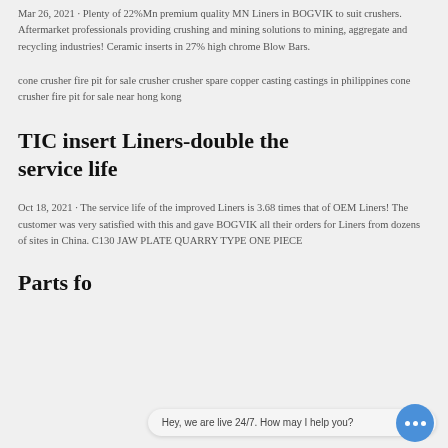Mar 26, 2021 · Plenty of 22Mn premium quality MN Liners in BOGVIK to suit crushers. Aftermarket professionals providing crushing and mining solutions to mining, aggregate and recycling industries! Ceramic inserts in 27% high chrome Blow Bars.
cone crusher fire pit for sale crusher crusher spare copper casting castings in philippines cone crusher fire pit for sale near hong kong
TIC insert Liners-double the service life
Oct 18, 2021 · The service life of the improved Liners is 3.68 times that of OEM Liners! The customer was very satisfied with this and gave BOGVIK all their orders for Liners from dozens of sites in China. C130 JAW PLATE QUARRY TYPE ONE PIECE
Parts fo…